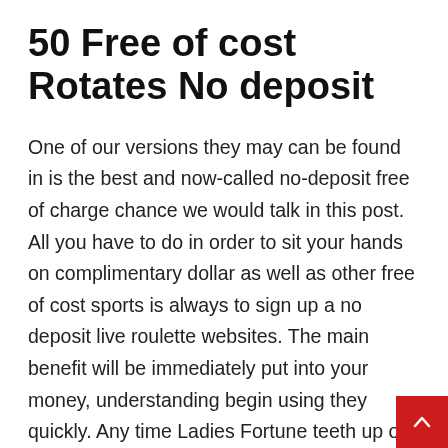50 Free of cost Rotates No deposit
One of our versions they may can be found in is the best and now-called no-deposit free of charge chance we would talk in this post. All you have to do in order to sit your hands on complimentary dollar as well as other free of cost sports is always to sign up a no deposit live roulette websites. The main benefit will be immediately put into your money, understanding begin using they quickly. Any time Ladies Fortune teeth up on we when using the no-deposit ultra, we gain comes into play frozen if you don't finish the playthrough. On the internet bingo games